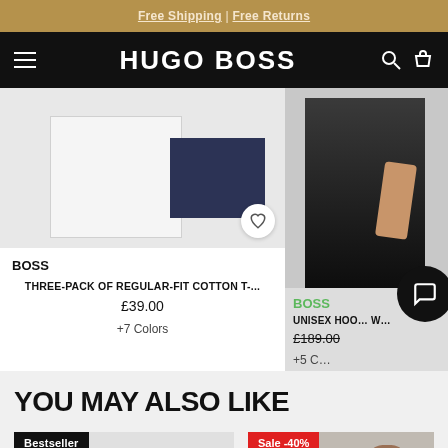Free Shipping | Free Returns
HUGO BOSS
BOSS
THREE-PACK OF REGULAR-FIT COTTON T-...
£39.00
+7 Colors
BOSS
UNISEX HOO... W...
£189.00
+5 C...
YOU MAY ALSO LIKE
Bestseller
Sale -40%